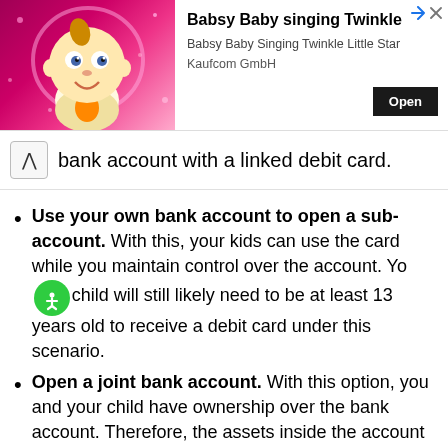[Figure (other): Advertisement banner for 'Babsy Baby singing Twinkle' app by Kaufcom GmbH, showing a cartoon baby character on a pink glittery background with an Open button.]
bank account with a linked debit card.
Use your own bank account to open a sub-account. With this, your kids can use the card while you maintain control over the account. Your child will still likely need to be at least 13 years old to receive a debit card under this scenario.
Open a joint bank account. With this option, you and your child have ownership over the bank account. Therefore, the assets inside the account also belong to both of you.
Opening a debit card for teens (minors). This